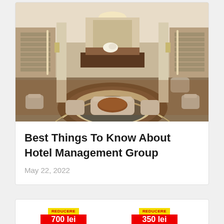[Figure (photo): Luxury hotel lobby interior with grand staircase, chandeliers, white upholstered seating around a round coffee table, ornate carpet and marble floor with circular inlay design]
Best Things To Know About Hotel Management Group
May 22, 2022
[Figure (photo): Partial view of product cards showing two items with REDUCERE (discount) badges: 700 lei and 350 lei]
REDUCERE
700 lei
REDUCERE
350 lei